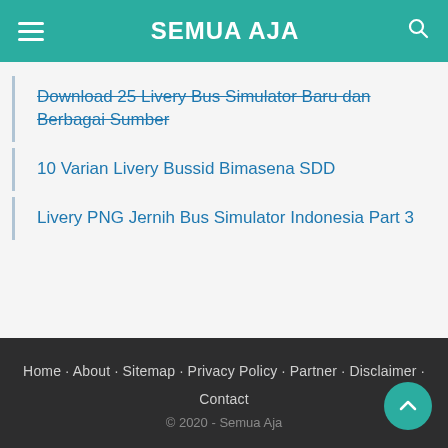SEMUA AJA
Download 25 Livery Bus Simulator Baru dari Berbagai Sumber
10 Varian Livery Bussid Bimasena SDD
Livery PNG Jernih Bus Simulator Indonesia Part 3
Home · About · Sitemap · Privacy Policy · Partner · Disclaimer · Contact
© 2020 - Semua Aja